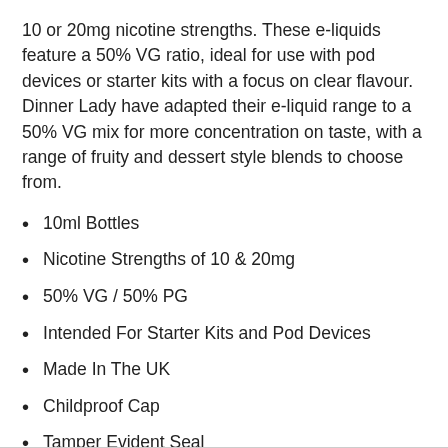10 or 20mg nicotine strengths. These e-liquids feature a 50% VG ratio, ideal for use with pod devices or starter kits with a focus on clear flavour. Dinner Lady have adapted their e-liquid range to a 50% VG mix for more concentration on taste, with a range of fruity and dessert style blends to choose from.
10ml Bottles
Nicotine Strengths of 10 & 20mg
50% VG / 50% PG
Intended For Starter Kits and Pod Devices
Made In The UK
Childproof Cap
Tamper Evident Seal